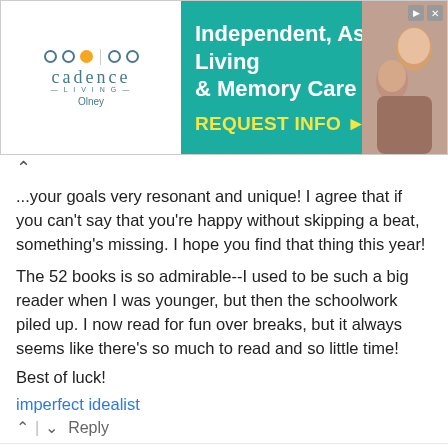[Figure (screenshot): Advertisement banner for Cadence Living - Independent, Assisted Living & Memory Care in Olney. Teal background with white text and yellow REQUEST INFO button. Features a photo of an elderly couple on the right.]
...your goals very resonant and unique! I agree that if you can't say that you're happy without skipping a beat, something's missing. I hope you find that thing this year!
The 52 books is so admirable--I used to be such a big reader when I was younger, but then the schoolwork piled up. I now read for fun over breaks, but it always seems like there's so much to read and so little time!
Best of luck!
imperfect idealist
↑ | ↓   Reply
Sarah Inks
7 years ago
Loving your goals, Bash! Very realistic :) I also can't commit to resolutions, so creating goals is the way to go! Best of